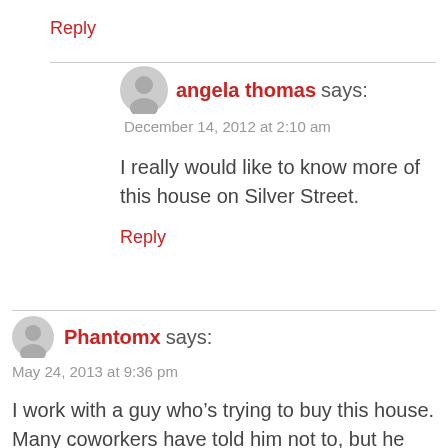Reply
angela thomas says:
December 14, 2012 at 2:10 am
I really would like to know more of this house on Silver Street.
Reply
Phantomx says:
May 24, 2013 at 9:36 pm
I work with a guy who’s trying to buy this house. Many coworkers have told him not to, but he doesn’t believe in ghosts.